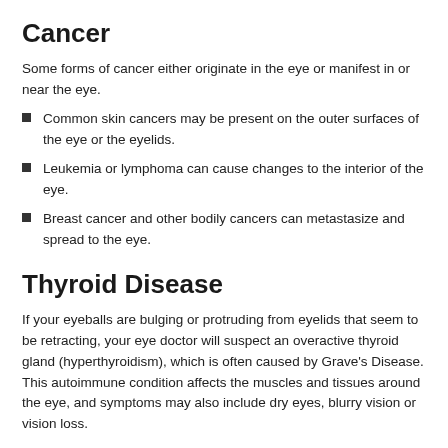Cancer
Some forms of cancer either originate in the eye or manifest in or near the eye.
Common skin cancers may be present on the outer surfaces of the eye or the eyelids.
Leukemia or lymphoma can cause changes to the interior of the eye.
Breast cancer and other bodily cancers can metastasize and spread to the eye.
Thyroid Disease
If your eyeballs are bulging or protruding from eyelids that seem to be retracting, your eye doctor will suspect an overactive thyroid gland (hyperthyroidism), which is often caused by Grave's Disease. This autoimmune condition affects the muscles and tissues around the eye, and symptoms may also include dry eyes, blurry vision or vision loss.
Several medical conditions, including those mentioned above,